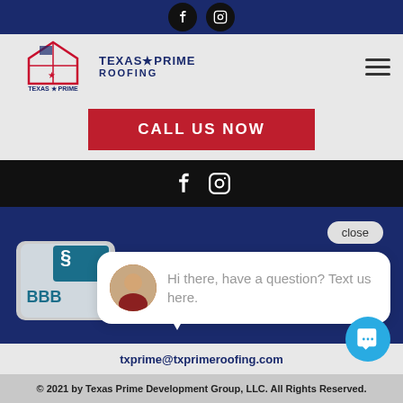[Figure (screenshot): Top dark navy bar with Facebook and Instagram social icons (white on black circles)]
[Figure (logo): Texas Prime Roofing logo with house/star graphic and text]
[Figure (screenshot): Hamburger menu icon (three horizontal lines)]
CALL US NOW
[Figure (screenshot): Black social bar with Facebook and Instagram icons]
[Figure (screenshot): BBB accreditation badge]
close
Hi there, have a question? Text us here.
txprime@txprimeroofing.com
© 2021 by Texas Prime Development Group, LLC. All Rights Reserved.